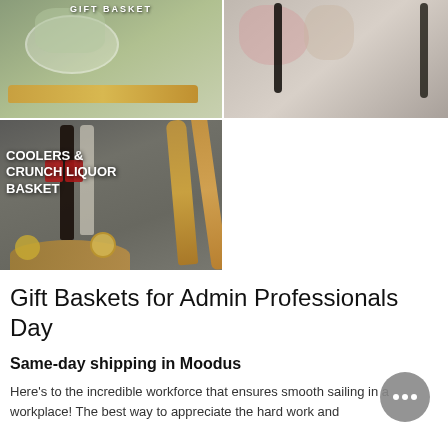[Figure (photo): Two gift basket product images at top: left shows a salad bowl gift basket with wooden board, right shows a floral arrangement with wine bottle]
[Figure (photo): Coolers & Crunch Liquor Basket product image showing assorted liquor bottles, snacks, and a wooden cutting board on a gray background]
Gift Baskets for Admin Professionals Day
Same-day shipping in Moodus
Here's to the incredible workforce that ensures smooth sailing in a workplace! The best way to appreciate the hard work and